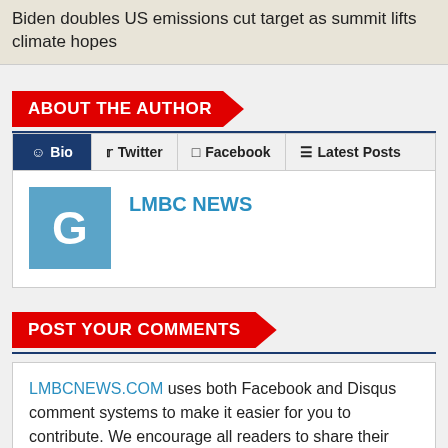Biden doubles US emissions cut target as summit lifts climate hopes
ABOUT THE AUTHOR
Bio | Twitter | Facebook | Latest Posts
LMBC NEWS
POST YOUR COMMENTS
LMBCNEWS.COM uses both Facebook and Disqus comment systems to make it easier for you to contribute. We encourage all readers to share their views on our articles and blog posts. All comments should be relevant to the topic